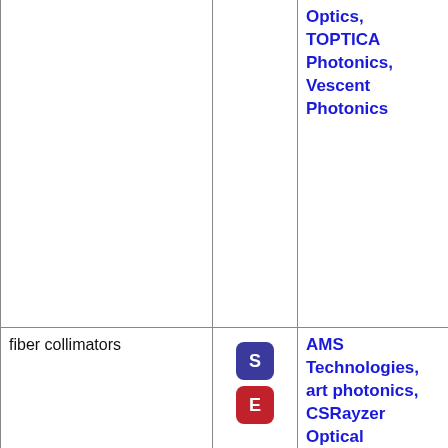| Item | Type | Suppliers |
| --- | --- | --- |
|  |  | Optics, TOPTICA Photonics, Vescent Photonics |
| fiber collimators | S E | AMS Technologies, art photonics, CSRayzer Optical Technology, DK Photonics, Edmund Optics, PowerPhotonic, Schäfter + Kirchhoff |